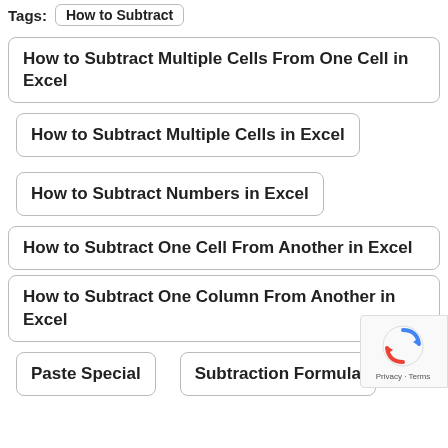Tags: How to Subtract
How to Subtract Multiple Cells From One Cell in Excel
How to Subtract Multiple Cells in Excel
How to Subtract Numbers in Excel
How to Subtract One Cell From Another in Excel
How to Subtract One Column From Another in Excel
Paste Special
Subtraction Formula